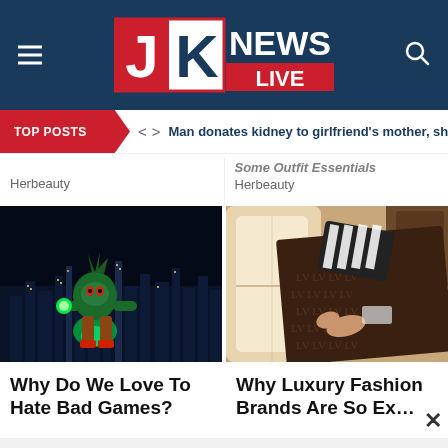[Figure (logo): JK News Live logo on dark blue header with hamburger menu and search icon]
TOP POSTS  < >  Man donates kidney to girlfriend's mother, she marries
Some Outfit Essentials
Herbeauty
Herbeauty
[Figure (photo): Video game character (green hedgehog) in front of city skyline at night]
[Figure (photo): Person sleeping under Louis Vuitton blanket on private jet seat]
Why Do We Love To Hate Bad Games?
Why Luxury Fashion Brands Are So Ex...
Join Our WhatsApp Group